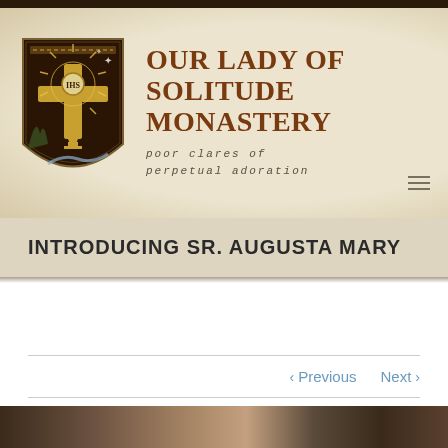[Figure (logo): Our Lady of Solitude Monastery logo: shield crest with golden cross and chalice on dark brown background with decorative elements]
OUR LADY OF SOLITUDE MONASTERY
poor clares of perpetual adoration
INTRODUCING SR. AUGUSTA MARY
< Previous   Next >
[Figure (photo): Partial view of a photo strip at the bottom of the page showing dark figures]